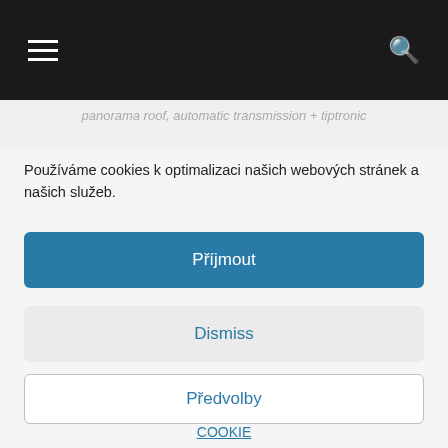≡  [navigation bar]  🔍
panorama roof, automatic transmission + tiptronic
Používáme cookies k optimalizaci našich webových stránek a našich služeb.
Příjmout
Dismiss
Předvolby
COOKIE